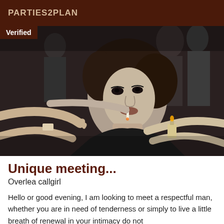PARTIES2PLAN
[Figure (photo): Black and white vintage photo of a glamorous young woman with curly hair holding a cigarette, surrounded by several men's hands reaching toward her, in a crowded social gathering scene. A 'Verified' badge overlays the top-left corner.]
Unique meeting...
Overlea callgirl
Hello or good evening, I am looking to meet a respectful man, whether you are in need of tenderness or simply to live a little breath of renewal in your intimacy do not